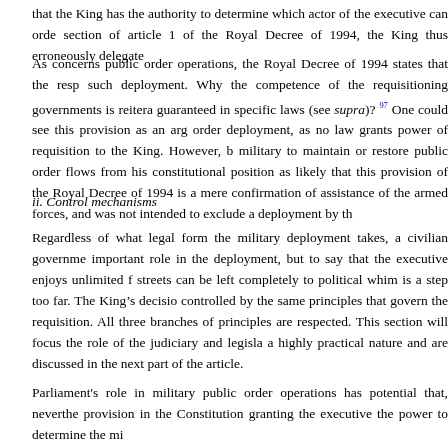that the King has the authority to determine which actor of the executive can orde section of article 1 of the Royal Decree of 1994, the King thus erroneously delegate
As concerns public order operations, the Royal Decree of 1994 states that the resp such deployment. Why the competence of the requisitioning governments is reitera guaranteed in specific laws (see supra)? 97 One could see this provision as an arg order deployment, as no law grants power of requisition to the King. However, b military to maintain or restore public order flows from his constitutional position as likely that this provision of the Royal Decree of 1994 is a mere confirmation of assistance of the armed forces, and was not intended to exclude a deployment by th
ii. Control mechanisms
Regardless of what legal form the military deployment takes, a civilian governme important role in the deployment, but to say that the executive enjoys unlimited f streets can be left completely to political whim is a step too far. The King's decisio controlled by the same principles that govern the requisition. All three branches of principles are respected. This section will focus the role of the judiciary and legisla a highly practical nature and are discussed in the next part of the article.
Parliament's role in military public order operations has potential that, neverthe provision in the Constitution granting the executive the power to determine the mi